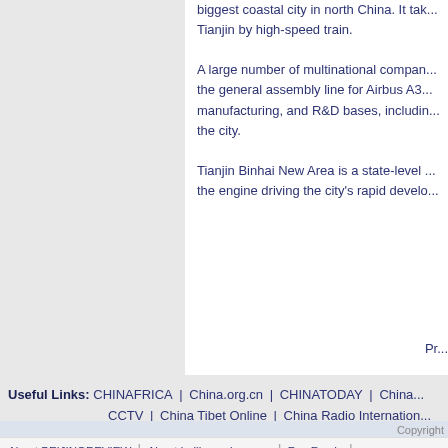biggest coastal city in north China. It tak... Tianjin by high-speed train.
A large number of multinational compan... the general assembly line for Airbus A32... manufacturing, and R&D bases, includin... the city.
Tianjin Binhai New Area is a state-level ... the engine driving the city's rapid develo...
Pr...
Useful Links: CHINAFRICA | China.org.cn | CHINATODAY | China... CCTV | China Tibet Online | China Radio Internation...
About BEIJINGREVIEW | About beijingreview.com | Rss Feeds |
Copyright